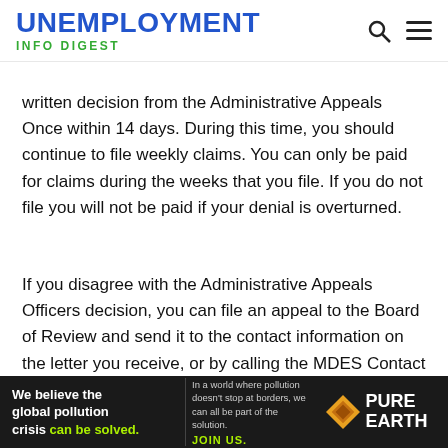UNEMPLOYMENT — INFO DIGEST
written decision from the Administrative Appeals Once within 14 days. During this time, you should continue to file weekly claims. You can only be paid for claims during the weeks that you file. If you do not file you will not be paid if your denial is overturned.
If you disagree with the Administrative Appeals Officers decision, you can file an appeal to the Board of Review and send it to the contact information on the letter you receive, or by calling the MDES Contact Center.
If you get an unfavorable decision from the Board of Review, you can file an appeal to the Circuit Coart in the county where you live. If you disagree with the Circuit Court
[Figure (infographic): Advertisement banner: 'We believe the global pollution crisis can be solved. In a world where pollution doesn't stop at borders, we can all be part of the solution. JOIN US.' with Pure Earth logo.]